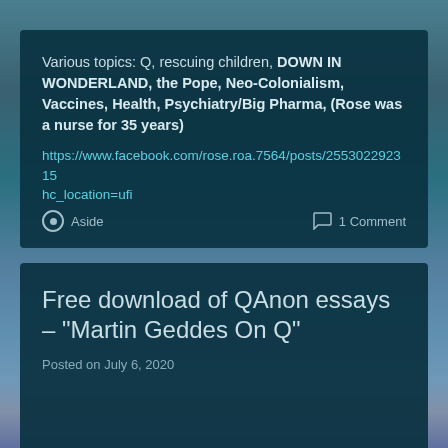Various topics: Q, rescuing children, DOWN IN WONDERLAND, the Pope, Neo-Colonialism, Vaccines, Health, Psychiatry/Big Pharma, (Rose was a nurse for 35 years)
https://www.facebook.com/rose.roa.7564/posts/255302292315hc_location=ufi
Aside
1 Comment
Free download of QAnon essays – "Martin Geddes On Q"
Posted on July 6, 2020